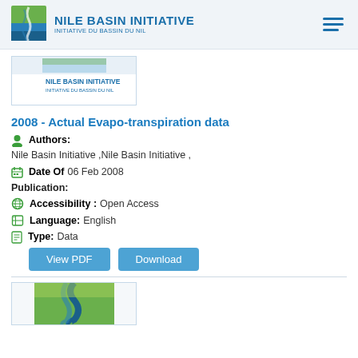[Figure (logo): Nile Basin Initiative logo with green and blue river icon, text NILE BASIN INITIATIVE / INITIATIVE DU BASSIN DU NIL in top navigation header]
[Figure (logo): Nile Basin Initiative thumbnail card with green/blue logo image]
2008 - Actual Evapo-transpiration data
Authors:
Nile Basin Initiative ,Nile Basin Initiative ,
Date Of Publication: 06 Feb 2008
Accessibility : Open Access
Language: English
Type: Data
View PDF
Download
[Figure (logo): Nile Basin Initiative logo thumbnail at bottom of page, partially visible]